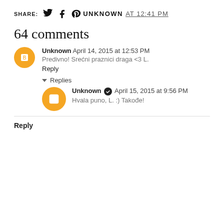SHARE: [twitter icon] [facebook icon] [pinterest icon]
UNKNOWN AT 12:41 PM
64 comments
Unknown  April 14, 2015 at 12:53 PM
Predivno! Srećni praznici draga <3 L.
Reply
▾ Replies
Unknown ✔ April 15, 2015 at 9:56 PM
Hvala puno, L. :) Takođe!
Reply